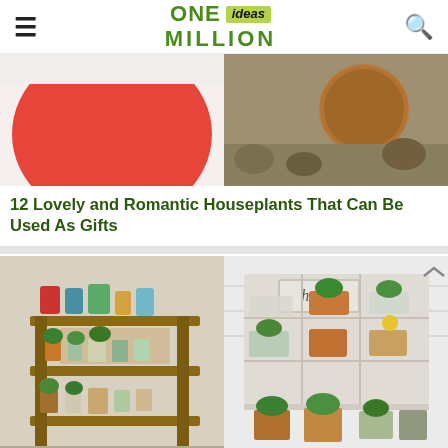ONE ideas MILLION
[Figure (photo): Two photos side by side: left shows a red bowl/pot, right shows a succulent plant among rocks]
12 Lovely and Romantic Houseplants That Can Be Used As Gifts
[Figure (photo): Two photos side by side: left shows a rustic wooden potting bench with colorful watering cans and potted plants, right shows a white cubby shelf labeled 'herbs' with various herb pots and plants]